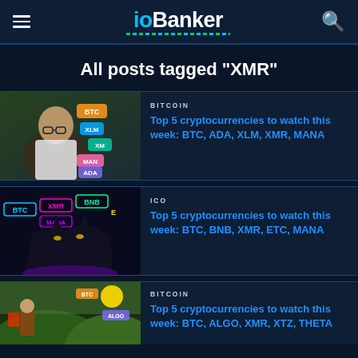ioBanker
All posts tagged "XMR"
BITCOIN
Top 5 cryptocurrencies to watch this week: BTC, ADA, XLM, XMR, MANA
ICO
Top 5 cryptocurrencies to watch this week: BTC, BNB, XMR, ETC, MANA
BITCOIN
Top 5 cryptocurrencies to watch this week: BTC, ALGO, XMR, XTZ, THETA